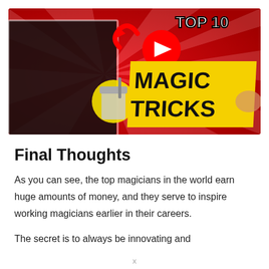[Figure (screenshot): YouTube video thumbnail for 'Top 10 Magic Tricks' showing a magician in black holding a cup, with a YouTube play button icon, red sunburst background, and bold yellow banner text reading 'MAGIC TRICKS' with 'TOP 10' above.]
Final Thoughts
As you can see, the top magicians in the world earn huge amounts of money, and they serve to inspire working magicians earlier in their careers.
The secret is to always be innovating and